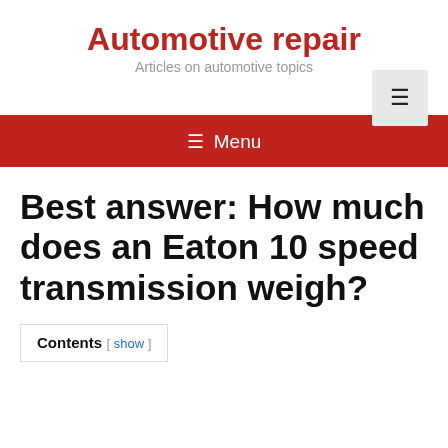Automotive repair
Articles on automotive topics
Best answer: How much does an Eaton 10 speed transmission weigh?
Contents [ show ]